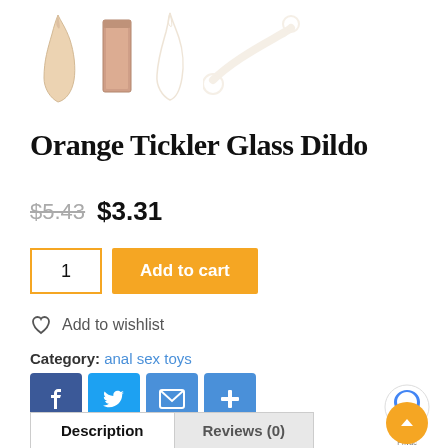[Figure (photo): Product thumbnail images of Orange Tickler Glass Dildo showing multiple views]
Orange Tickler Glass Dildo
$5.43 $3.31
Add to cart (quantity: 1)
Add to wishlist
Category: anal sex toys
Social share buttons: Facebook, Twitter, Email, More
Description | Reviews (0)